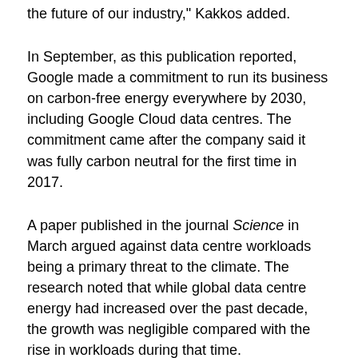the future of our industry," Kakkos added.
In September, as this publication reported, Google made a commitment to run its business on carbon-free energy everywhere by 2030, including Google Cloud data centres. The commitment came after the company said it was fully carbon neutral for the first time in 2017.
A paper published in the journal Science in March argued against data centre workloads being a primary threat to the climate. The research noted that while global data centre energy had increased over the past decade, the growth was negligible compared with the rise in workloads during that time.
The full list of vendor members are: Altuhost, Amazon Web Services, Aruba, Atos, CyrusOne, Data4, DigiPlex, Digital Realty/Interxion, Equinix, FlameNetworks, Gigas, Google, Ikoula, Ilger, Infloclip, Irideos, ITnet, LCL, Leaseweb, NTT,